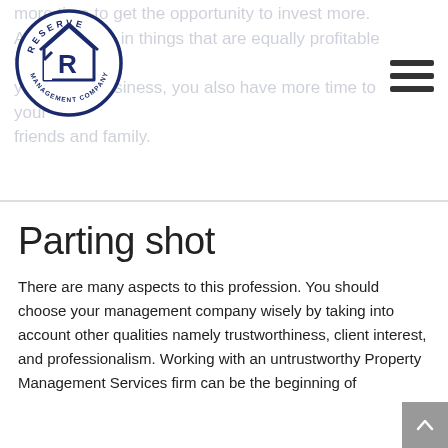[Figure (logo): Reserve Management Company circular logo with house/R icon in dark navy blue]
more time to get the opportunity to invest more. And investing in things that are equally profitable to your other business, you also have more time to your friends and family.
Parting shot
There are many aspects to this profession. You should choose your management company wisely by taking into account other qualities namely trustworthiness, client interest, and professionalism. Working with an untrustworthy Property Management Services firm can be the beginning of